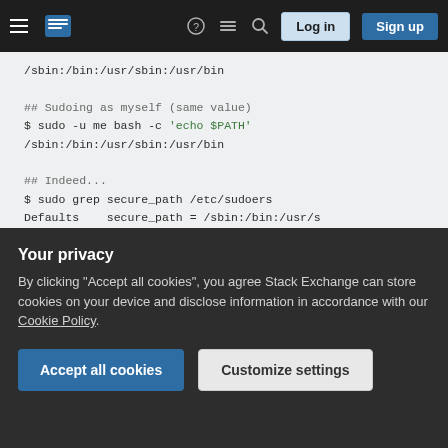Stack Exchange navigation bar with hamburger menu, logo, search, Log in and Sign up buttons
[Figure (screenshot): Code block on light gray background showing shell commands: /sbin:/bin:/usr/sbin:/usr/bin, ## Sudoing as myself (same value), $ sudo -u me bash -c 'echo $PATH', /sbin:/bin:/usr/sbin:/usr/bin, ## Indeed..., $ sudo grep secure_path /etc/sudoers, Defaults    secure_path = /sbin:/bin:/usr/s]
You might also give a quick glance at sudo's env_keep parameter and add VISUAL and EDITOR to the list of kept variables if not already there, but
Your privacy
By clicking "Accept all cookies", you agree Stack Exchange can store cookies on your device and disclose information in accordance with our Cookie Policy.
Accept all cookies   Customize settings